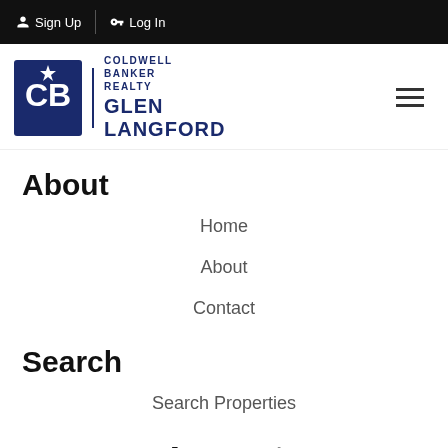Sign Up  Log In
[Figure (logo): Coldwell Banker Realty - Glen Langford logo with hamburger menu icon]
About
Home
About
Contact
Search
Search Properties
Account